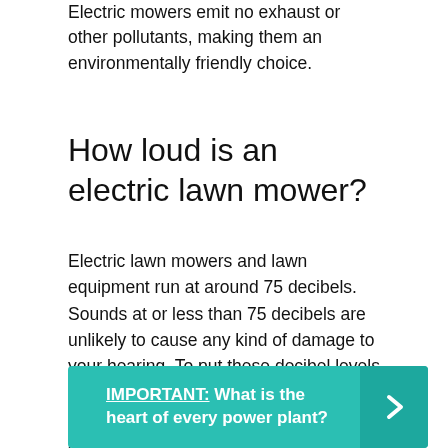Electric mowers emit no exhaust or other pollutants, making them an environmentally friendly choice.
How loud is an electric lawn mower?
Electric lawn mowers and lawn equipment run at around 75 decibels. Sounds at or less than 75 decibels are unlikely to cause any kind of damage to your hearing. To put these decibel levels in perspective, imagine standing next to a motorcycle as it starts up and drives away — it's pretty loud.
IMPORTANT:  What is the heart of every power plant?